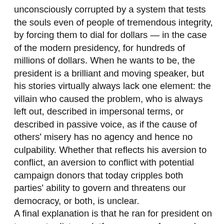unconsciously corrupted by a system that tests the souls even of people of tremendous integrity, by forcing them to dial for dollars — in the case of the modern presidency, for hundreds of millions of dollars. When he wants to be, the president is a brilliant and moving speaker, but his stories virtually always lack one element: the villain who caused the problem, who is always left out, described in impersonal terms, or described in passive voice, as if the cause of others' misery has no agency and hence no culpability. Whether that reflects his aversion to conflict, an aversion to conflict with potential campaign donors that today cripples both parties' ability to govern and threatens our democracy, or both, is unclear. A final explanation is that he ran for president on two contradictory platforms: as a reformer who would clean up the system, and as a unity candidate who would transcend the lines of red and blue. He has pursued the one with which he is most comfortable given the constraints of his character, consistently choosing the message of bipartisanship over the message of confrontation. But the arc of history does not bend toward justice through capitulation cast as compromise. It does not bend when 400